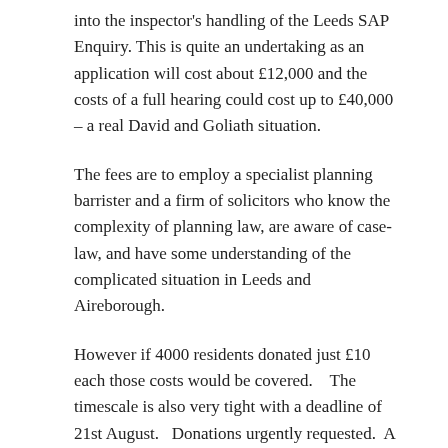into the inspector's handling of the Leeds SAP Enquiry. This is quite an undertaking as an application will cost about £12,000 and the costs of a full hearing could cost up to £40,000 – a real David and Goliath situation.
The fees are to employ a specialist planning barrister and a firm of solicitors who know the complexity of planning law, are aware of case-law, and have some understanding of the complicated situation in Leeds and Aireborough.
However if 4000 residents donated just £10 each those costs would be covered.    The timescale is also very tight with a deadline of 21st August.   Donations urgently requested.  A crowdfunding site has been set up for this.
https://localgiving.org/appeal/greenbeltlegalfees/